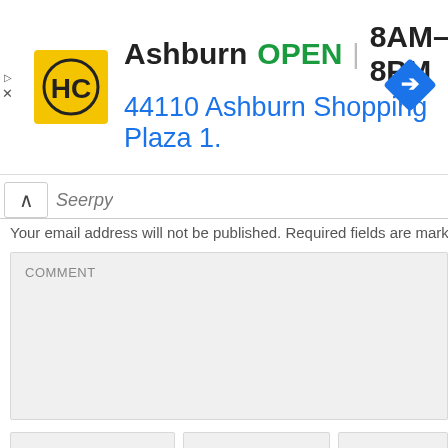[Figure (screenshot): Advertisement banner for HC (Homewise Craftsmen or similar) store in Ashburn. Shows store logo (yellow/black HC), text: Ashburn OPEN 8AM-8PM, 44110 Ashburn Shopping Plaza 1., and a blue navigation diamond icon.]
Your email address will not be published. Required fields are marke
COMMENT
NAME *
EMAIL *
WEBSITE
Notify me of follow-up comments by email.